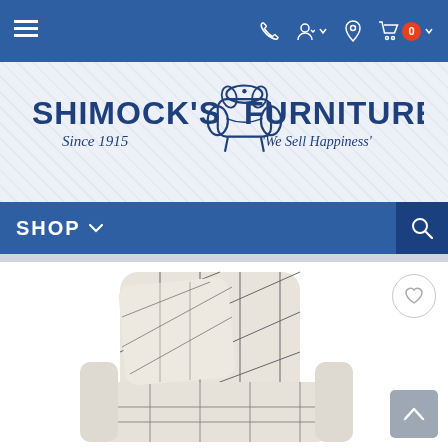Top navigation bar with menu, phone, account, location, and cart (0) icons
[Figure (logo): Shimock's Furniture logo with armchair illustration. Text: SHIMOCK'S FURNITURE, Since 1915, 'We Sell Happiness']
SHOP navigation bar with dropdown and search icon
[Figure (photo): Product photo of a cream/beige upholstered accent chair with geometric diamond pattern fabric, with a matching throw pillow. White background.]